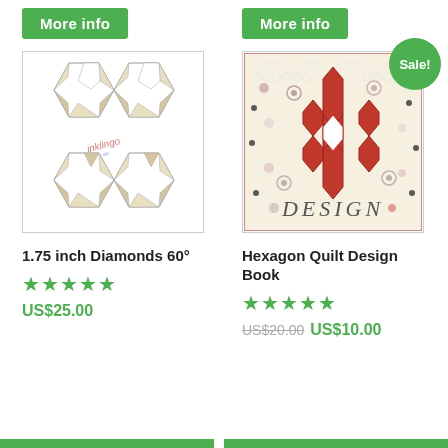More info
More info
[Figure (illustration): Quilt pattern with star/diamond hexagon shapes in beige and white with 'inklingo' watermark]
[Figure (illustration): Book cover: Hexagon Quilt Design Book with red flower hexagon pattern and small floral designs on cream background with 'DESIGN' text at bottom. Has green 'Sale!' badge.]
1.75 inch Diamonds 60°
Hexagon Quilt Design Book
★★★★★
★★★★★
US$25.00
US$20.00 US$10.00